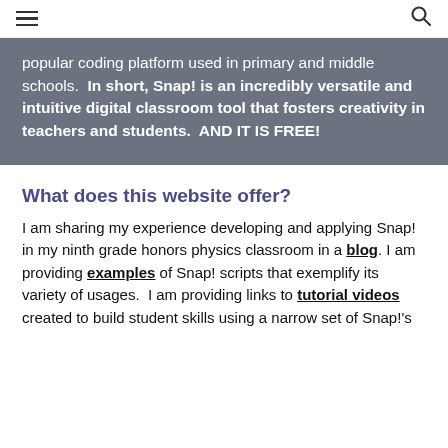[hamburger menu] [search icon]
popular coding platform used in primary and middle schools.  In short, Snap! is an incredibly versatile and intuitive digital classroom tool that fosters creativity in teachers and students.  AND IT IS FREE!
What does this website offer?
I am sharing my experience developing and applying Snap! in my ninth grade honors physics classroom in a blog. I am providing examples of Snap! scripts that exemplify its variety of usages.  I am providing links to tutorial videos created to build student skills using a narrow set of Snap!'s